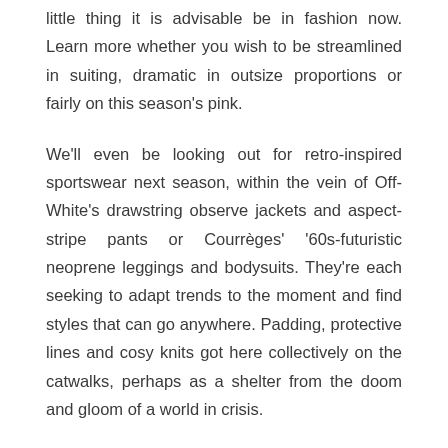little thing it is advisable be in fashion now. Learn more whether you wish to be streamlined in suiting, dramatic in outsize proportions or fairly on this season's pink.
We'll even be looking out for retro-inspired sportswear next season, within the vein of Off-White's drawstring observe jackets and aspect-stripe pants or Courrèges' '60s-futuristic neoprene leggings and bodysuits. They're each seeking to adapt trends to the moment and find styles that can go anywhere. Padding, protective lines and cosy knits got here collectively on the catwalks, perhaps as a shelter from the doom and gloom of a world in crisis.
For the new season, jackets are more fitted and fewer shoulder-padded than the final. Raf Simons made his debut at Calvin Klein , coating each outerwear choice in his collection in clear plastic. When you need help, be happy to get in touch with us at 0344